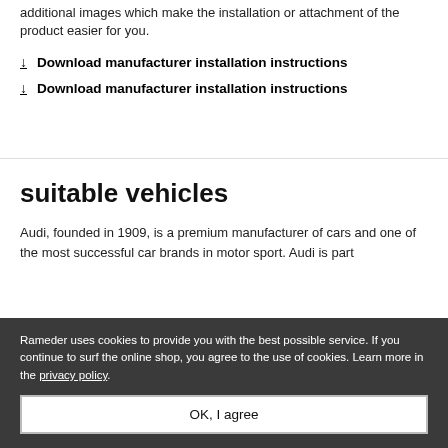additional images which make the installation or attachment of the product easier for you.
↓  Download manufacturer installation instructions
↓  Download manufacturer installation instructions
suitable vehicles
Audi, founded in 1909, is a premium manufacturer of cars and one of the most successful car brands in motor sport. Audi is part
Rameder uses cookies to provide you with the best possible service. If you continue to surf the online shop, you agree to the use of cookies. Learn more in the privacy policy.
OK, I agree